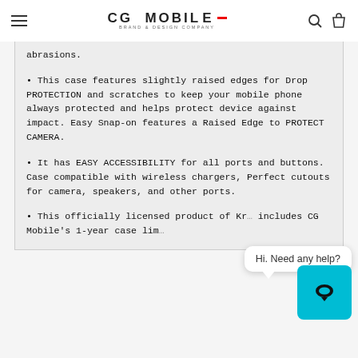CG MOBILE BRAND & DESIGN COMPANY
abrasions.
• This case features slightly raised edges for Drop PROTECTION and scratches to keep your mobile phone always protected and helps protect device against impact. Easy Snap-on features a Raised Edge to PROTECT CAMERA.
• It has EASY ACCESSIBILITY for all ports and buttons. Case compatible with wireless chargers, Perfect cutouts for camera, speakers, and other ports.
• This officially licensed product of Kr... includes CG Mobile's 1-year case lim...
Hi. Need any help?